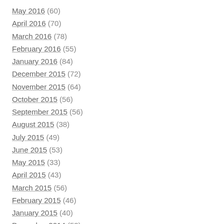May 2016 (60)
April 2016 (70)
March 2016 (78)
February 2016 (55)
January 2016 (84)
December 2015 (72)
November 2015 (64)
October 2015 (56)
September 2015 (56)
August 2015 (38)
July 2015 (49)
June 2015 (53)
May 2015 (33)
April 2015 (43)
March 2015 (56)
February 2015 (46)
January 2015 (40)
December 2014 (53)
November 2014 (49)